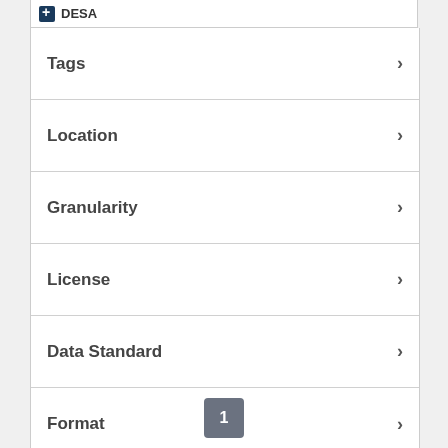DESA
Tags
Location
Granularity
License
Data Standard
Format
Active filters
----Bolivia, Plurinational State of
Reset all filters
1